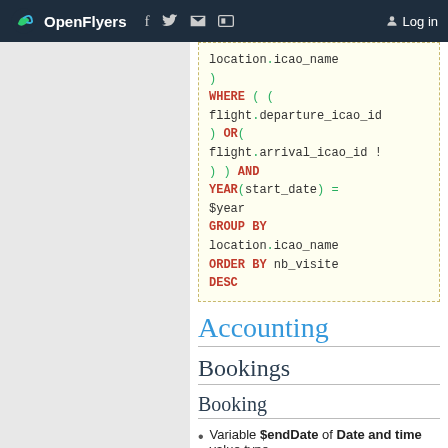OpenFlyers — Log in
[Figure (screenshot): Code block showing SQL snippet with WHERE clause, GROUP BY, ORDER BY, and DESC keywords in red/green monospace font on pale yellow dashed-border background]
Accounting
Bookings
Booking
Variable $endDate of Date and time value type.